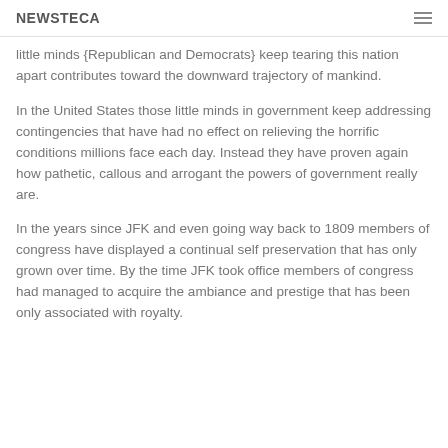NEWSTECA
little minds {Republican and Democrats} keep tearing this nation apart contributes toward the downward trajectory of mankind.
In the United States those little minds in government keep addressing contingencies that have had no effect on relieving the horrific conditions millions face each day. Instead they have proven again how pathetic, callous and arrogant the powers of government really are.
In the years since JFK and even going way back to 1809 members of congress have displayed a continual self preservation that has only grown over time. By the time JFK took office members of congress had managed to acquire the ambiance and prestige that has been only associated with royalty.